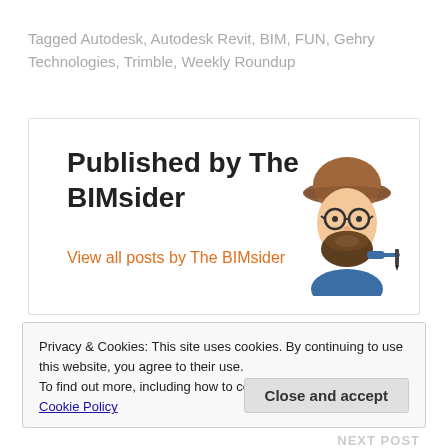Tagged Autodesk, Autodesk Revit, BIM, FUN, Gehry Technologies, Trimble, Weekly Roundup
Published by The BIMsider
View all posts by The BIMsider
[Figure (illustration): Cartoon avatar of a bearded man wearing a brown cap and glasses, holding a pen, dressed in blue shirt]
Privacy & Cookies: This site uses cookies. By continuing to use this website, you agree to their use.
To find out more, including how to control cookies, see here: Cookie Policy
Close and accept
NEXT POST